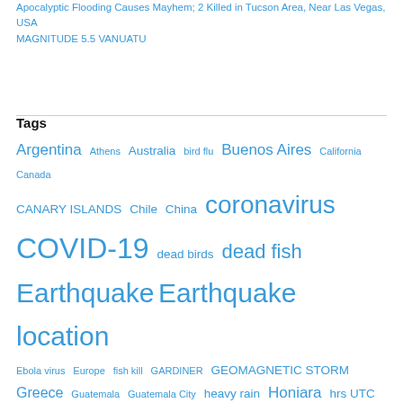Apocalyptic Flooding Causes Mayhem; 2 Killed in Tucson Area, Near Las Vegas, USA
MAGNITUDE 5.5 VANUATU
Tags
Argentina Athens Australia bird flu Buenos Aires California Canada CANARY ISLANDS Chile China coronavirus COVID-19 dead birds dead fish Earthquake Earthquake location Ebola virus Europe fish kill GARDINER GEOMAGNETIC STORM Greece Guatemala Guatemala City heavy rain Honiara hrs UTC Iceland INDIA Indonesia Iran Italy Japan Joint Typhoon Warning Latitude